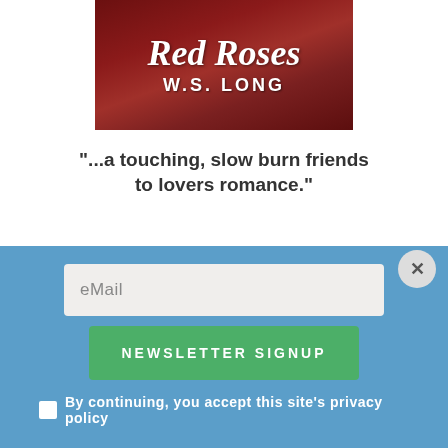[Figure (illustration): Book cover for 'Red Roses' by W.S. Long with dark red background and white script/serif text]
"...a touching, slow burn friends to lovers romance."
[Figure (photo): Partial photo of a person with dark hair against a stone/brick wall background]
eMail
NEWSLETTER SIGNUP
By continuing, you accept this site's privacy policy